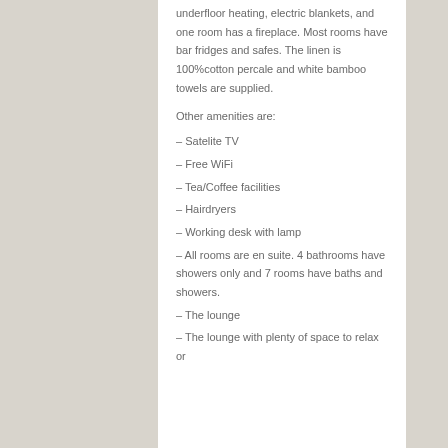underfloor heating, electric blankets, and one room has a fireplace. Most rooms have bar fridges and safes. The linen is 100%cotton percale and white bamboo towels are supplied.
Other amenities are:
– Satelite TV
– Free WiFi
– Tea/Coffee facilities
– Hairdryers
– Working desk with lamp
– All rooms are en suite. 4 bathrooms have showers only and 7 rooms have baths and showers.
– The lounge
– The lounge with plenty of space to relax or